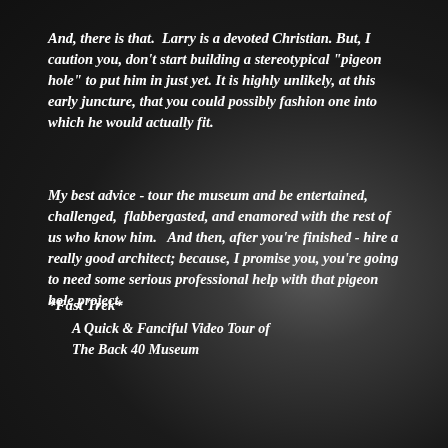And, there is that.  Larry is a devoted Christian. But, I caution you, don't start building a stereotypical "pigeon hole" to put him in just yet. It is highly unlikely, at this early juncture, that you could possibly fashion one into which he would actually fit.
My best advice - tour the museum and be entertained, challenged,  flabbergasted, and enamored with the rest of us who know him.   And then, after you're finished - hire a really good architect; because, I promise you, you're going to need some serious professional help with that pigeon hole project.
*Fast Trek*
    A Quick & Fanciful Video Tour of
    The Back 40 Museum